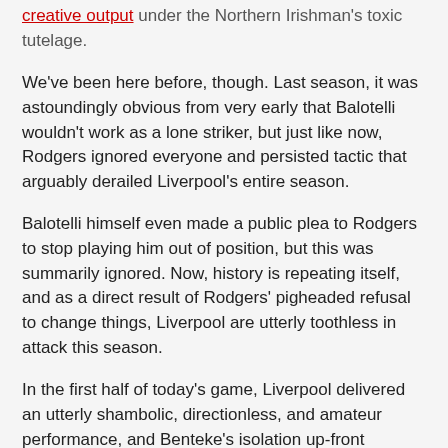creative output under the Northern Irishman's toxic tutelage.
We've been here before, though. Last season, it was astoundingly obvious from very early that Balotelli wouldn't work as a lone striker, but just like now, Rodgers ignored everyone and persisted tactic that arguably derailed Liverpool's entire season.
Balotelli himself even made a public plea to Rodgers to stop playing him out of position, but this was summarily ignored. Now, history is repeating itself, and as a direct result of Rodgers' pigheaded refusal to change things, Liverpool are utterly toothless in attack this season.
In the first half of today's game, Liverpool delivered an utterly shambolic, directionless, and amateur performance, and Benteke's isolation up-front exacerbated the team's overall ineffectiveness.
Prior to kick-off, everything seemed so promising: Rodgers finally decided to play two strikers, and many believed that he'd do the obvious and employ a 442 diamond, with Ings providing support alongside Benteke.